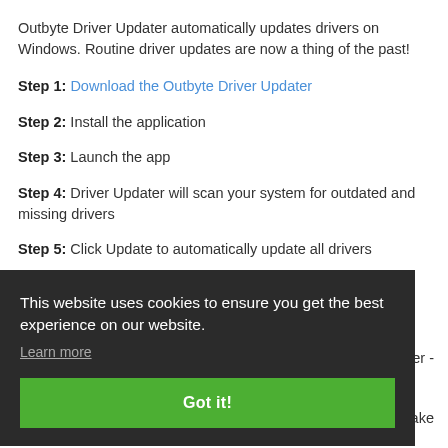Outbyte Driver Updater automatically updates drivers on Windows. Routine driver updates are now a thing of the past!
Step 1: Download the Outbyte Driver Updater
Step 2: Install the application
Step 3: Launch the app
Step 4: Driver Updater will scan your system for outdated and missing drivers
Step 5: Click Update to automatically update all drivers
This website uses cookies to ensure you get the best experience on our website. Learn more
Got it!